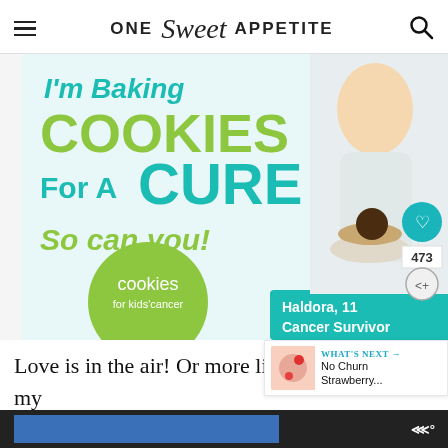ONE Sweet APPETITE
[Figure (photo): Cookies for Kids Cancer charity campaign ad featuring a young girl (Haldora, 11, Cancer Survivor) holding a plate of pancakes/cookies. Text: I'm Baking COOKIES For A CURE So can you! cookies for kids' cancer. Haldora, 11 Cancer Survivor.]
Love is in the air! Or more likely… Love is in my tummy. In the form of pancakes. This rec about at the request of my child. Funny enough, most of o
[Figure (infographic): WHAT'S NEXT panel showing No Churn Strawberry... recipe thumbnail]